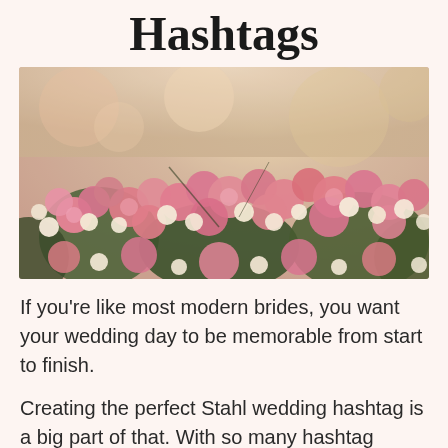Hashtags
[Figure (photo): Close-up photograph of pink and white flowers (roses and baby's breath) with soft, warm, vintage-toned bokeh background in peach and cream tones.]
If you’re like most modern brides, you want your wedding day to be memorable from start to finish.
Creating the perfect Stahl wedding hashtag is a big part of that. With so many hashtag